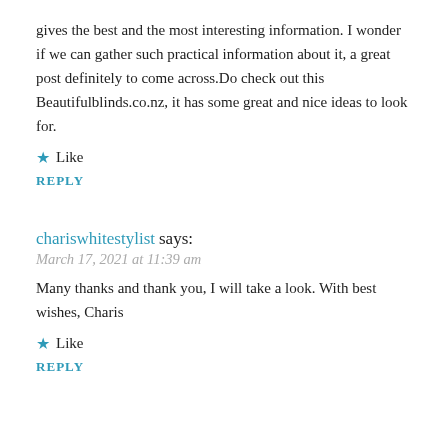gives the best and the most interesting information. I wonder if we can gather such practical information about it, a great post definitely to come across.Do check out this Beautifulblinds.co.nz, it has some great and nice ideas to look for.
★ Like
REPLY
chariswhitestylist says:
March 17, 2021 at 11:39 am
Many thanks and thank you, I will take a look. With best wishes, Charis
★ Like
REPLY
Pingback: Blue and White House interiors – Charis White Interiors